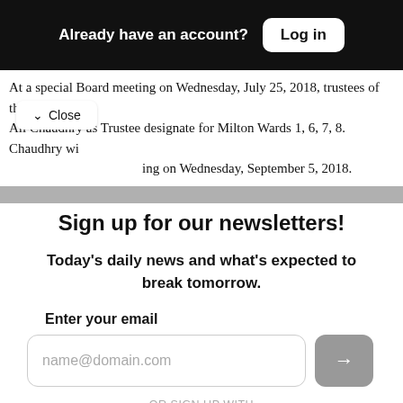Already have an account? Log in
At a special Board meeting on Wednesday, July 25, 2018, trustees of the Ha Ali Chaudhry as Trustee designate for Milton Wards 1, 6, 7, 8. Chaudhry wi ing on Wednesday, September 5, 2018.
Sign up for our newsletters!
Today's daily news and what's expected to break tomorrow.
Enter your email
name@domain.com
OR SIGN UP WITH